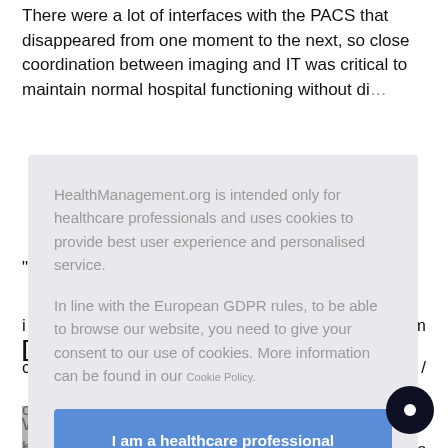There were a lot of interfaces with the PACS that disappeared from one moment to the next, so close coordination between imaging and IT was critical to maintain normal hospital functioning without di…tion.
[Figure (screenshot): Cookie consent modal overlay from HealthManagement.org. Contains text: 'HealthManagement.org is intended only for healthcare professionals and uses cookies to provide best user experience and personalised service. In line with the European GDPR rules, to be able to browse our website, you need to give your consent to our use of cookies. More information can be found in our Cookie Policy.' A blue button reads: 'I am a healthcare professional and consent to the use of cookies'.]
…for h… a…